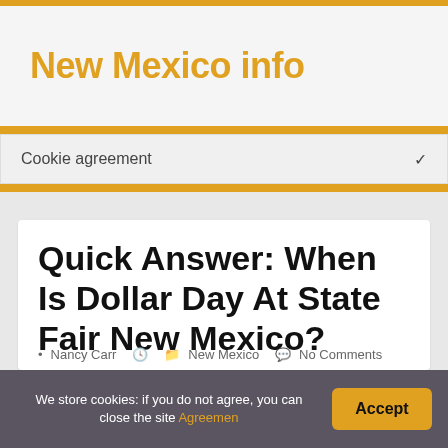New Mexico info
Cookie agreement
Quick Answer: When Is Dollar Day At State Fair New Mexico?
Nancy Carr · New Mexico · No Comments
We store cookies: if you do not agree, you can close the site Agreemen
Accept